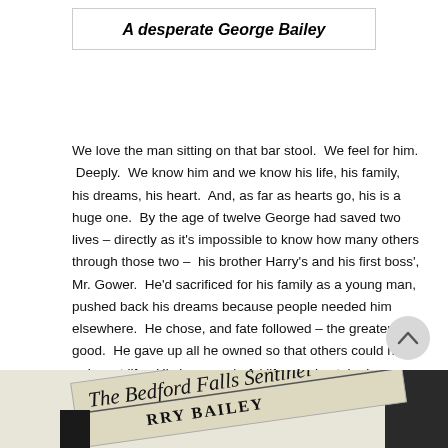A desperate George Bailey
We love the man sitting on that bar stool.  We feel for him.  Deeply.  We know him and we know his life, his family, his dreams, his heart.  And, as far as hearts go, his is a huge one.  By the age of twelve George had saved two lives – directly as it's impossible to know how many others through those two –  his brother Harry's and his first boss', Mr. Gower.  He'd sacrificed for his family as a young man, pushed back his dreams because people needed him elsewhere.  He chose, and fate followed – the greater good.  He gave up all he owned so that others could have a decent life.  His is a wonderful life.  And yet, he is desolate on a day that started better than most.
[Figure (photo): Partial image of a newspaper called 'The Bedford Falls Sentinel' shown at an angle at the bottom of the page, partially cropped.]